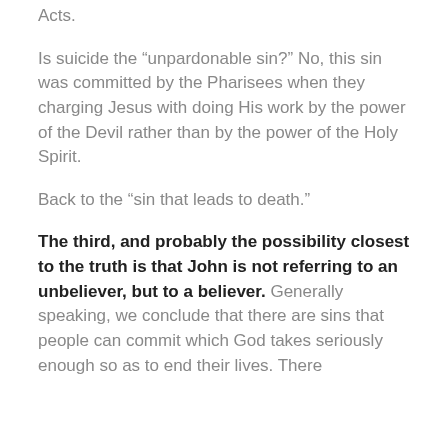Acts.
Is suicide the “unpardonable sin?” No, this sin was committed by the Pharisees when they charging Jesus with doing His work by the power of the Devil rather than by the power of the Holy Spirit.
Back to the “sin that leads to death.”
The third, and probably the possibility closest to the truth is that John is not referring to an unbeliever, but to a believer. Generally speaking, we conclude that there are sins that people can commit which God takes seriously enough so as to end their lives. There